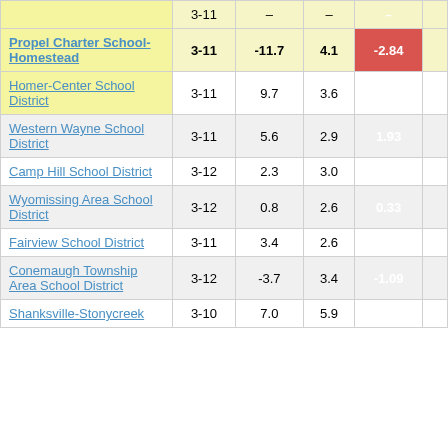| School/District | Grades | Col3 | Col4 | Score |
| --- | --- | --- | --- | --- |
| Propel Charter School-Homestead | 3-11 | -11.7 | 4.1 | -2.84 |
| Homer-Center School District | 3-11 | 9.7 | 3.6 | 2.70 |
| Western Wayne School District | 3-11 | 5.6 | 2.9 | 1.93 |
| Camp Hill School District | 3-12 | 2.3 | 3.0 | 0.78 |
| Wyomissing Area School District | 3-12 | 0.8 | 2.6 | 0.33 |
| Fairview School District | 3-11 | 3.4 | 2.6 | 1.32 |
| Conemaugh Township Area School District | 3-12 | -3.7 | 3.4 | -1.09 |
| Shanksville-Stonycreek | 3-10 | 7.0 | 5.9 | 1.20 |